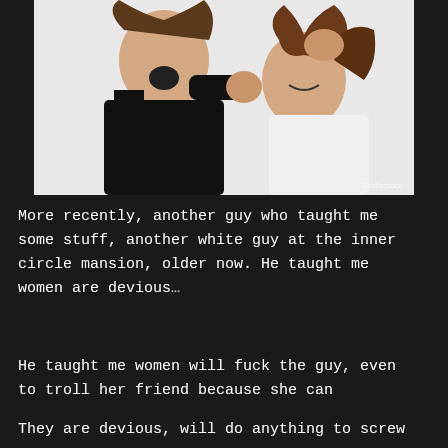[Figure (photo): Two women fighting, one pulling the other's hair and screaming, stock photo with Shutterstock watermark]
More recently, another guy who taught me some stuff, another white guy at the inner circle mansion, older now. He taught me women are devious…
He taught me women will fuck the guy, even to troll her friend because she can
They are devious, will do anything to screw